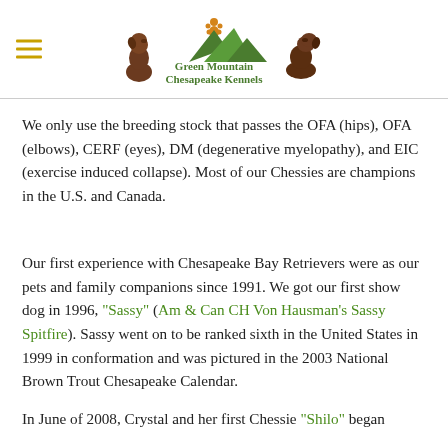Green Mountain Chesapeake Kennels (logo with navigation)
We only use the breeding stock that passes the OFA (hips), OFA (elbows), CERF (eyes), DM (degenerative myelopathy), and EIC (exercise induced collapse). Most of our Chessies are champions in the U.S. and Canada.
Our first experience with Chesapeake Bay Retrievers were as our pets and family companions since 1991. We got our first show dog in 1996, "Sassy" (Am & Can CH Von Hausman's Sassy Spitfire). Sassy went on to be ranked sixth in the United States in 1999 in conformation and was pictured in the 2003 National Brown Trout Chesapeake Calendar.
In June of 2008, Crystal and her first Chessie "Shilo" began